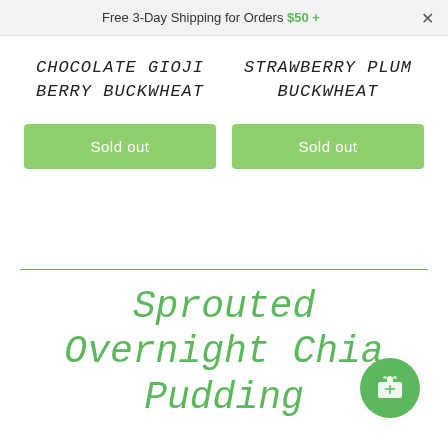Free 3-Day Shipping for Orders $50 +
CHOCOLATE GIOJI BERRY BUCKWHEAT
Sold out
STRAWBERRY PLUM BUCKWHEAT
Sold out
Sprouted Overnight Chia Pudding